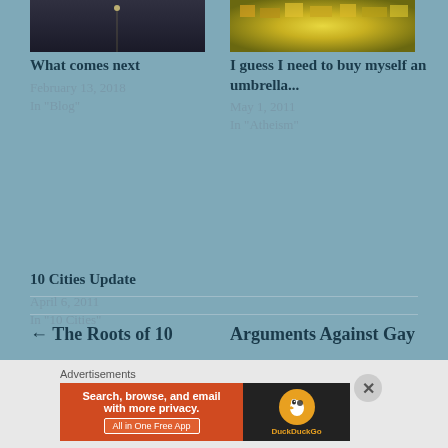[Figure (photo): Dark street scene, nighttime urban photograph]
What comes next
February 13, 2018
In "Blog"
[Figure (photo): Colorful aerial or overhead photo of market or city lights]
I guess I need to buy myself an umbrella...
May 1, 2011
In "Atheism"
10 Cities Update
April 6, 2011
In "10 Cities"
← The Roots of 10
Arguments Against Gay
Advertisements
[Figure (screenshot): DuckDuckGo advertisement banner: Search, browse, and email with more privacy. All in One Free App]